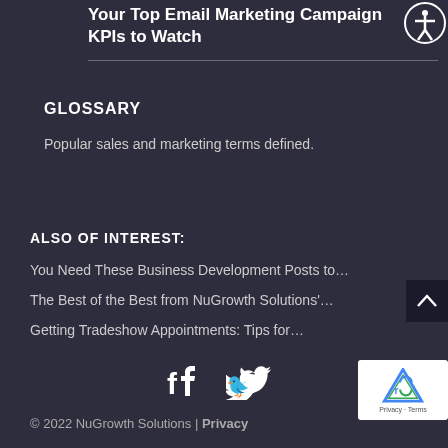Your Top Email Marketing Campaign KPIs to Watch
GLOSSARY
Popular sales and marketing terms defined.
ALSO OF INTEREST:
You Need These Business Development Posts to…
The Best of the Best from NuGrowth Solutions'…
Getting Tradeshow Appointments: Tips for…
[Figure (other): Social media icons: Facebook and Twitter]
© 2022 NuGrowth Solutions | Privacy